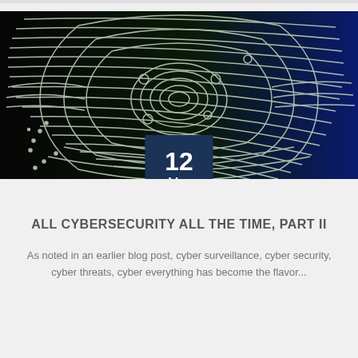[Figure (photo): Close-up of a fingerprint with green and white ridges against a dark background transitioning to blue on the right side]
ALL CYBERSECURITY ALL THE TIME, PART II
As noted in an earlier blog post, cyber surveillance, cyber security, cyber threats, cyber everything has become the flavor...